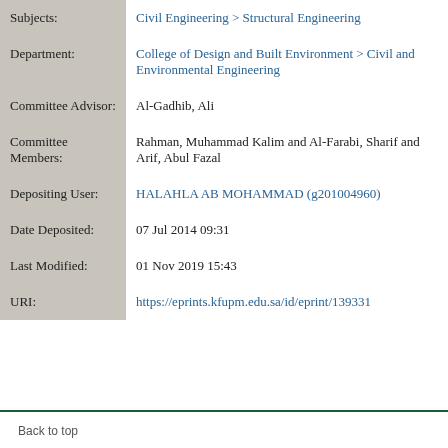| Field | Value |
| --- | --- |
| Subjects: | Civil Engineering > Structural Engineering |
| Department: | College of Design and Built Environment > Civil and Environmental Engineering |
| Committee Advisor: | Al-Gadhib, Ali |
| Committee Members: | Rahman, Muhammad Kalim and Al-Farabi, Sharif and Arif, Abul Fazal |
| Depositing User: | HALAHLA AB MOHAMMAD (g201004960) |
| Date Deposited: | 07 Jul 2014 09:31 |
| Last Modified: | 01 Nov 2019 15:43 |
| URI: | https://eprints.kfupm.edu.sa/id/eprint/139331 |
Back to top